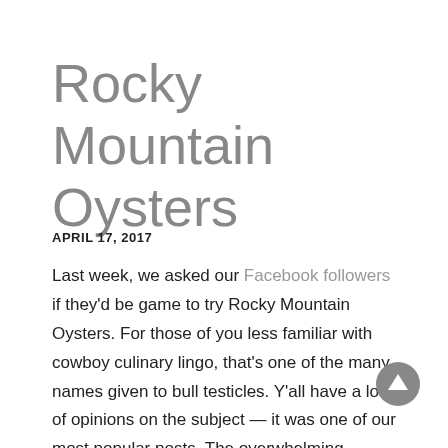Rocky Mountain Oysters
APRIL 17, 2017
Last week, we asked our Facebook followers if they'd be game to try Rocky Mountain Oysters. For those of you less familiar with cowboy culinary lingo, that's one of the many names given to bull testicles. Y'all have a lot of opinions on the subject — it was one of our most popular posts. The overwhelming answer? Not only would you, but you already have. This is a book about real Texas cowboys, after all, and if